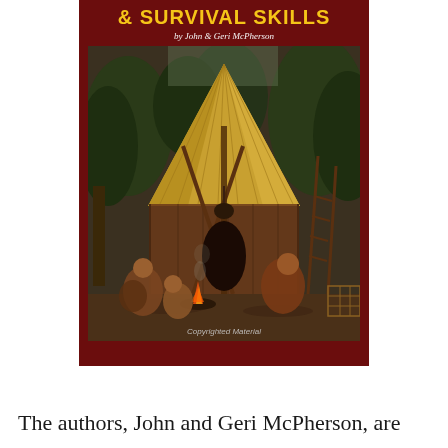[Figure (photo): Book cover with dark red/maroon background. Title text '& SURVIVAL SKILLS' in bold yellow uppercase letters at top, subtitle 'by John & Geri McPherson' in white italic below. Main image shows a thatched-roof structure resembling a primitive shelter or tipi, with people in primitive clothing sitting around a fire in an outdoor wooded setting. Watermark 'Copyrighted Material' at bottom of photo.]
The authors, John and Geri McPherson, are